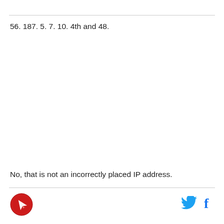56. 187. 5. 7. 10. 4th and 48.
No, that is not an incorrectly placed IP address.
[Figure (logo): Red circular logo with a paper airplane/rocket icon]
[Figure (other): Twitter bird icon in blue]
[Figure (other): Facebook f icon in blue]